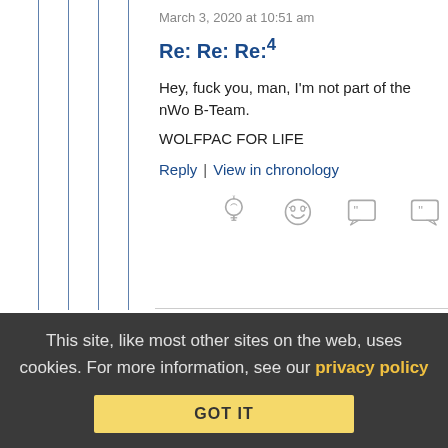March 3, 2020 at 10:51 am
Re: Re: Re:4
Hey, fuck you, man, I'm not part of the nWo B-Team.
WOLFPAC FOR LIFE
Reply | View in chronology
[Figure (illustration): Four reaction icons: lightbulb, laughing face, open-quote speech bubble, close-quote speech bubble]
This comment has been flagged by the community. Click here show it.
This site, like most other sites on the web, uses cookies. For more information, see our privacy policy
GOT IT